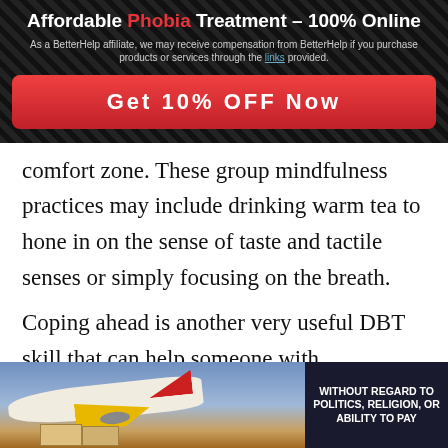Affordable Phobia Treatment – 100% Online
As a BetterHelp affiliate, we may receive compensation from BetterHelp if you purchase products or services through the links provided.
Get 10% OFF Now
comfort zone. These group mindfulness practices may include drinking warm tea to hone in on the sense of taste and tactile senses or simply focusing on the breath.
Coping ahead is another very useful DBT skill that can help someone with scriptophobia. With coping ahead, you will want to find a place where you can sit down quietly without distraction. Close your eyes and then think about the many different possible scenarios where you
[Figure (photo): Advertisement banner showing cargo airplane being loaded, with text 'WITHOUT REGARD TO POLITICS, RELIGION, OR ABILITY TO PAY']